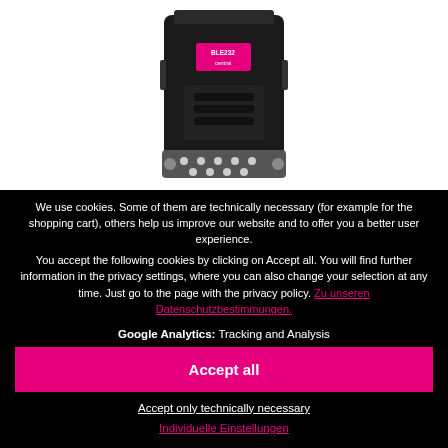[Figure (photo): BLE232 central device — a black DB9/serial connector adapter with pink label reading 'BLE232 central']
We use cookies. Some of them are technically necessary (for example for the shopping cart), others help us improve our website and to offer you a better user experience.
You accept the following cookies by clicking on Accept all. You will find further information in the privacy settings, where you can also change your selection at any time. Just go to the page with the privacy policy. Zu unseren Datenschutzbestimmungen.
Google Analytics: Tracking and Analysis
Accept all
Accept only technically necessary
Individuelle Einstellungen